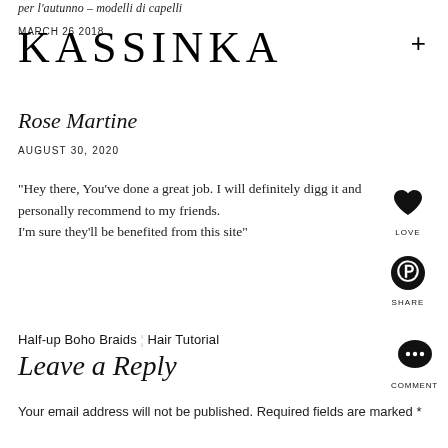per l'autunno – modelli di capelli
KASSINKA
MARCH 26 2018
+
Rose Martine
AUGUST 30, 2020
"Hey there, You've done a great job. I will definitely digg it and personally recommend to my friends.
I'm sure they'll be benefited from this site"
[Figure (illustration): Heart/love icon]
LOVE
[Figure (logo): Pinterest share icon]
SHARE
Half-up Boho Braids | Hair Tutorial
Leave a Reply
[Figure (illustration): Comment/speech bubble icon]
COMMENT
Your email address will not be published. Required fields are marked *